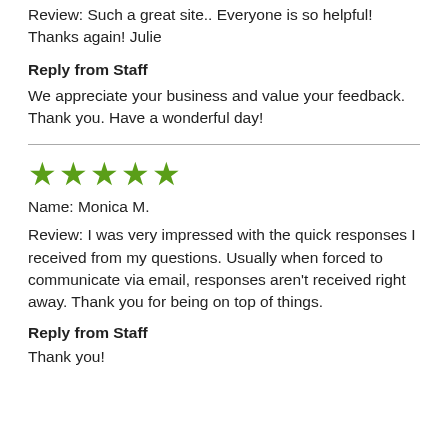Review: Such a great site.. Everyone is so helpful! Thanks again! Julie
Reply from Staff
We appreciate your business and value your feedback. Thank you. Have a wonderful day!
★★★★★
Name: Monica M.
Review: I was very impressed with the quick responses I received from my questions. Usually when forced to communicate via email, responses aren't received right away. Thank you for being on top of things.
Reply from Staff
Thank you!